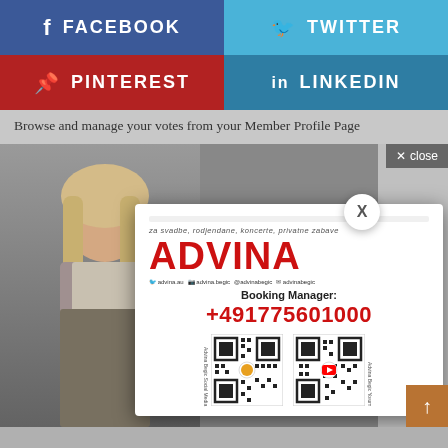[Figure (screenshot): Social media share buttons: Facebook (dark blue), Twitter (light blue), Pinterest (dark red), LinkedIn (steel blue)]
Browse and manage your votes from your Member Profile Page
[Figure (screenshot): Background photo of a blonde woman in traditional clothing, overlaid with an Advina booking popup showing 'za svadbe, rodjendane, koncerte, privatne zabave', ADVINA in red text, social media handles, Booking Manager: +491775601000, and two QR codes. A white close X button overlays the popup, and there is an X close button in the top-right background area, and a scroll-up button at bottom right.]